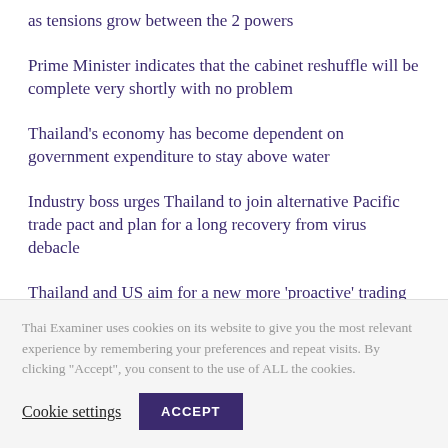as tensions grow between the 2 powers
Prime Minister indicates that the cabinet reshuffle will be complete very shortly with no problem
Thailand's economy has become dependent on government expenditure to stay above water
Industry boss urges Thailand to join alternative Pacific trade pact and plan for a long recovery from virus debacle
Thailand and US aim for a new more 'proactive' trading relationship as ambassador meets Prayuth
Thai Examiner uses cookies on its website to give you the most relevant experience by remembering your preferences and repeat visits. By clicking "Accept", you consent to the use of ALL the cookies.
Cookie settings
ACCEPT